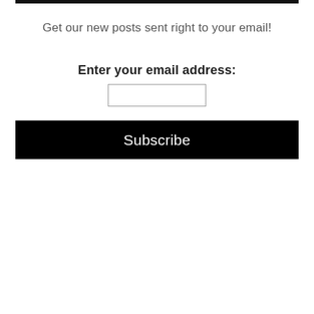Get our new posts sent right to your email!
Enter your email address:
Subscribe